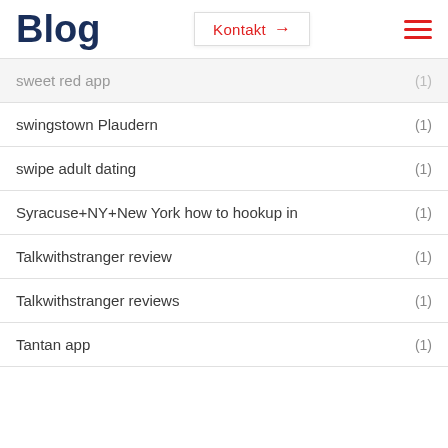Blog | Kontakt | menu
sweet red app (1)
swingstown Plaudern (1)
swipe adult dating (1)
Syracuse+NY+New York how to hookup in (1)
Talkwithstranger review (1)
Talkwithstranger reviews (1)
Tantan app (1)